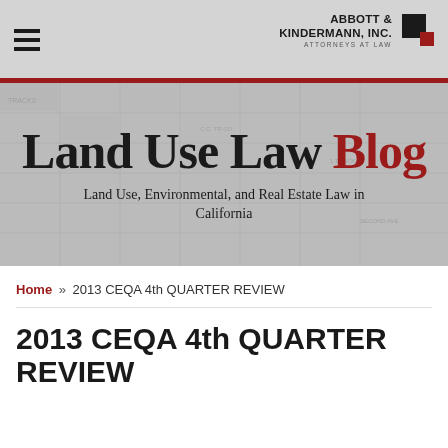[Figure (logo): Abbott & Kindermann, Inc. Attorneys at Law logo with black and red square icon]
[Figure (illustration): Land Use Law Blog banner with faded street map background. Title reads 'Land Use Law Blog' with 'Blog' in red. Subtitle: 'Land Use, Environmental, and Real Estate Law in California']
Home » 2013 CEQA 4th QUARTER REVIEW
2013 CEQA 4th QUARTER REVIEW